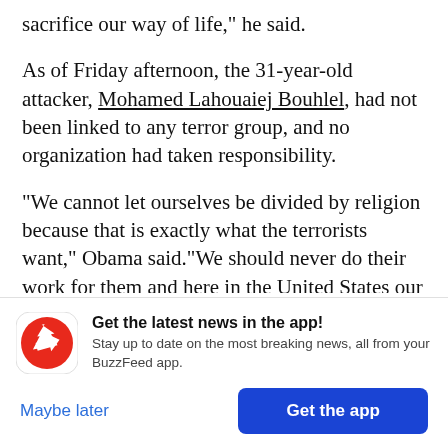sacrifice our way of life," he said.
As of Friday afternoon, the 31-year-old attacker, Mohamed Lahouaiej Bouhlel, had not been linked to any terror group, and no organization had taken responsibility.
"We cannot let ourselves be divided by religion because that is exactly what the terrorists want," Obama said."We should never do their work for them and here in the United States our freedoms.
[Figure (infographic): BuzzFeed app promotion banner with red circular BuzzFeed News icon, headline 'Get the latest news in the app!', subtext 'Stay up to date on the most breaking news, all from your BuzzFeed app.', 'Maybe later' text button and 'Get the app' blue button.]